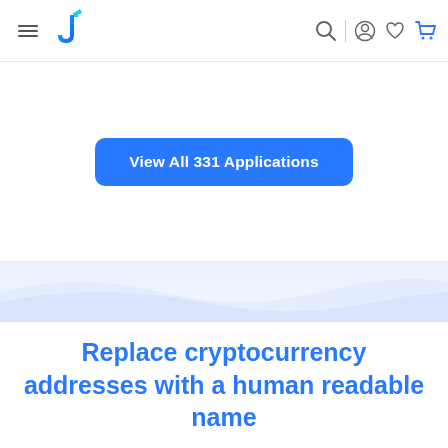Navigation bar with hamburger menu, logo, search, account, wishlist, and cart icons
View All 331 Applications
[Figure (illustration): Blue gradient wave divider section]
Replace cryptocurrency addresses with a human readable name